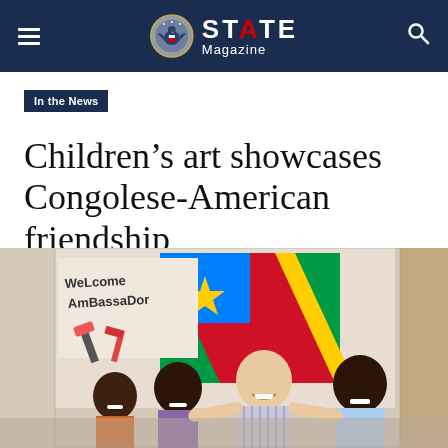STATE Magazine
In the News
Children's art showcases Congolese-American friendship
[Figure (photo): A smiling man in a light blue striped shirt poses with three Congolese children in front of a hand-painted banner that reads 'Welcome Ambassador' with a painting of the Congolese flag.]